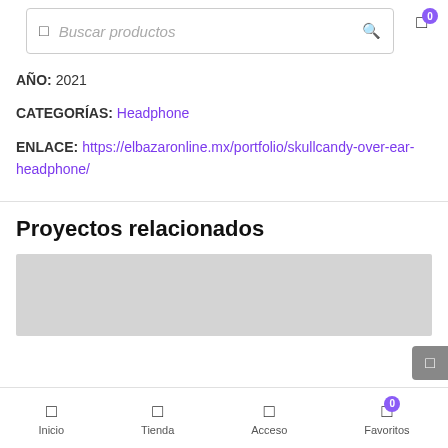Buscar productos
AÑO: 2021
CATEGORÍAS: Headphone
ENLACE: https://elbazaronline.mx/portfolio/skullcandy-over-ear-headphone/
Proyectos relacionados
[Figure (photo): Gray placeholder image for related project]
Inicio  Tienda  Acceso  Favoritos